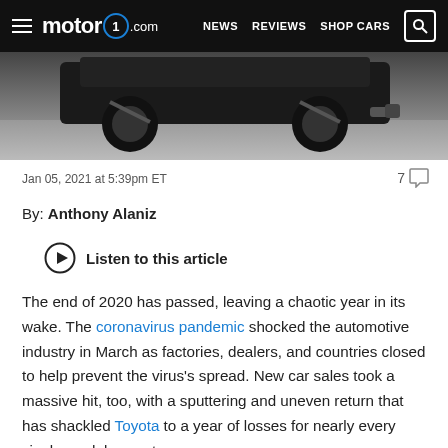motor1.com | NEWS  REVIEWS  SHOP CARS
[Figure (photo): Dark close-up photo of the rear underside of a vehicle, showing exhaust and suspension parts against a grey road surface]
Jan 05, 2021 at 5:39pm ET
7 comments
By: Anthony Alaniz
Listen to this article
The end of 2020 has passed, leaving a chaotic year in its wake. The coronavirus pandemic shocked the automotive industry in March as factories, dealers, and countries closed to help prevent the virus's spread. New car sales took a massive hit, too, with a sputtering and uneven return that has shackled Toyota to a year of losses for nearly every single model except one –